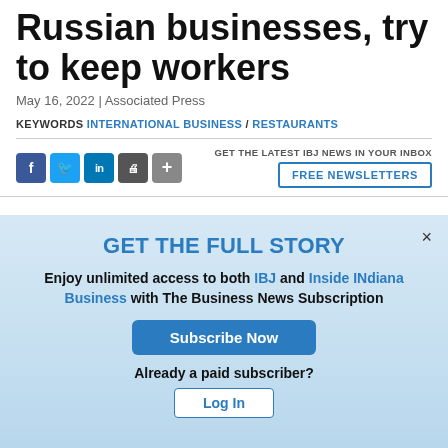Russian businesses, try to keep workers
May 16, 2022 | Associated Press
KEYWORDS INTERNATIONAL BUSINESS / RESTAURANTS
GET THE LATEST IBJ NEWS IN YOUR INBOX
FREE NEWSLETTERS
GET THE FULL STORY
Enjoy unlimited access to both IBJ and Inside INdiana Business with The Business News Subscription
Subscribe Now
Already a paid subscriber?
Log In